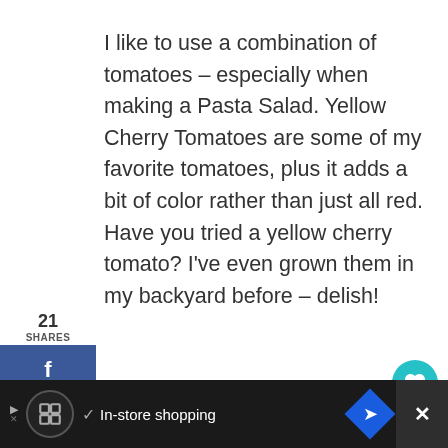I like to use a combination of tomatoes – especially when making a Pasta Salad. Yellow Cherry Tomatoes are some of my favorite tomatoes, plus it adds a bit of color rather than just all red. Have you tried a yellow cherry tomato? I've even grown them in my backyard before – delish!
[Figure (photo): Photo of pasta salad in glass bowls, partially visible at the bottom of the page]
[Figure (screenshot): Ad bar at the bottom with icons: round logo, checkmark, 'In-store shopping' text, blue diamond arrow icon, and a close X button on dark background]